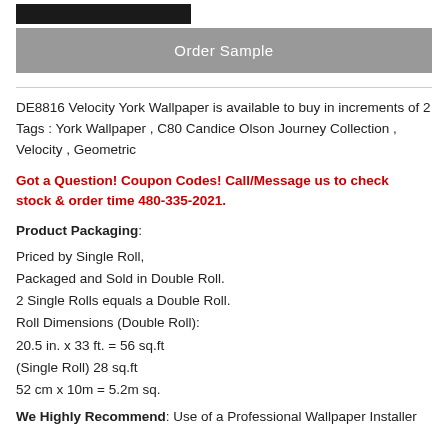[Figure (other): Black horizontal bar at top]
Order Sample
DE8816 Velocity York Wallpaper is available to buy in increments of 2 Tags : York Wallpaper , C80 Candice Olson Journey Collection , Velocity , Geometric
Got a Question! Coupon Codes! Call/Message us to check stock & order time 480-335-2021.
Product Packaging:
Priced by Single Roll,
Packaged and Sold in Double Roll.
2 Single Rolls equals a Double Roll.
Roll Dimensions (Double Roll):
20.5 in. x 33 ft. = 56 sq.ft
(Single Roll) 28 sq.ft
52 cm x 10m = 5.2m sq.
We Highly Recommend: Use of a Professional Wallpaper Installer